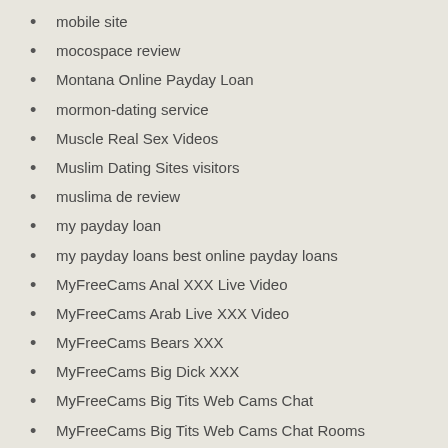mobile site
mocospace review
Montana Online Payday Loan
mormon-dating service
Muscle Real Sex Videos
Muslim Dating Sites visitors
muslima de review
my payday loan
my payday loans best online payday loans
MyFreeCams Anal XXX Live Video
MyFreeCams Arab Live XXX Video
MyFreeCams Bears XXX
MyFreeCams Big Dick XXX
MyFreeCams Big Tits Web Cams Chat
MyFreeCams Big Tits Web Cams Chat Rooms